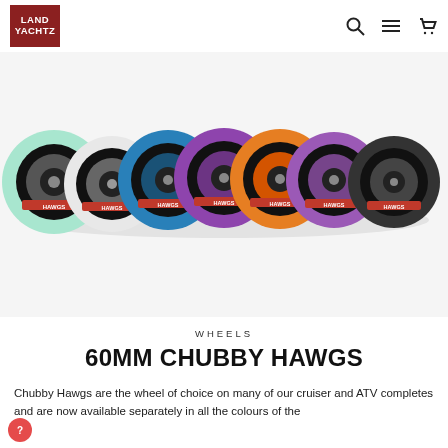[Figure (logo): Land Yachtz logo — white text on dark red square background]
[Figure (photo): A row of Chubby Hawgs skateboard wheels in multiple colors including mint green, white/grey, blue, purple, orange/yellow, and black, arranged side by side showing the tread and hub]
WHEELS
60MM CHUBBY HAWGS
Chubby Hawgs are the wheel of choice on many of our cruiser and ATV completes and are now available separately in all the colours of the